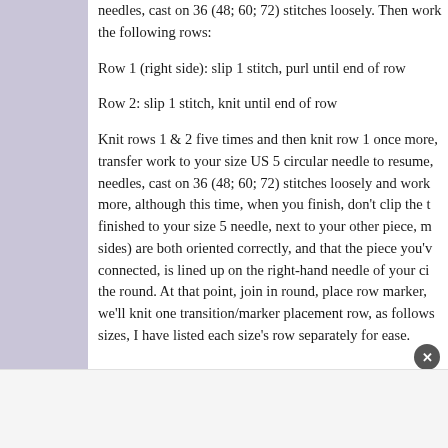needles, cast on 36 (48; 60; 72) stitches loosely. Then work the following rows:
Row 1 (right side): slip 1 stitch, purl until end of row
Row 2: slip 1 stitch, knit until end of row
Knit rows 1 & 2 five times and then knit row 1 once more, transfer work to your size US 5 circular needle to resume, needles, cast on 36 (48; 60; 72) stitches loosely and work more, although this time, when you finish, don't clip the t finished to your size 5 needle, next to your other piece, m sides) are both oriented correctly, and that the piece you'v connected, is lined up on the right-hand needle of your ci the round. At that point, join in round, place row marker, we'll knit one transition/marker placement row, as follows sizes, I have listed each size's row separately for ease.